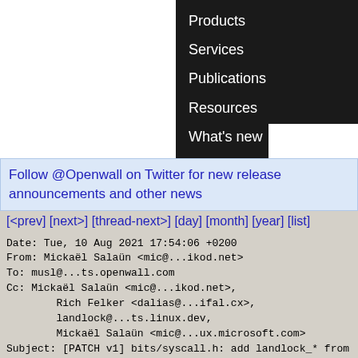[Figure (screenshot): Navigation menu on dark background with items: Products, Services, Publications, Resources, What's new]
Follow @Openwall on Twitter for new release announcements and other news
[<prev] [next>] [thread-next>] [day] [month] [year] [list]
Date: Tue, 10 Aug 2021 17:54:06 +0200
From: Mickaël Salaün <mic@...ikod.net>
To: musl@...ts.openwall.com
Cc: Mickaël Salaün <mic@...ikod.net>,
        Rich Felker <dalias@...ifal.cx>,
        landlock@...ts.linux.dev,
        Mickaël Salaün <mic@...ux.microsoft.com>
Subject: [PATCH v1] bits/syscall.h: add landlock_* from linux v5.13

From: Mickaël Salaün <mic@...ux.microsoft.com>

Add three system calls for all architectures: